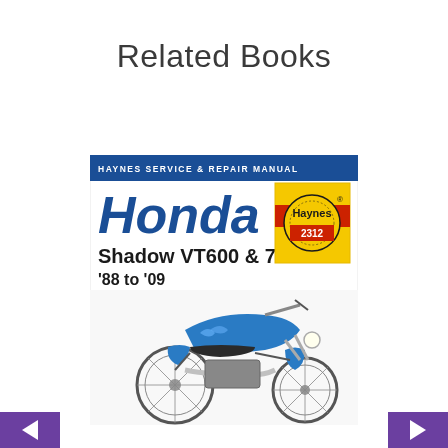Related Books
[Figure (illustration): Book cover: Haynes Service & Repair Manual for Honda Shadow VT600 & 750, '88 to '09. Blue motorcycle on cover with Haynes logo numbered 2312.]